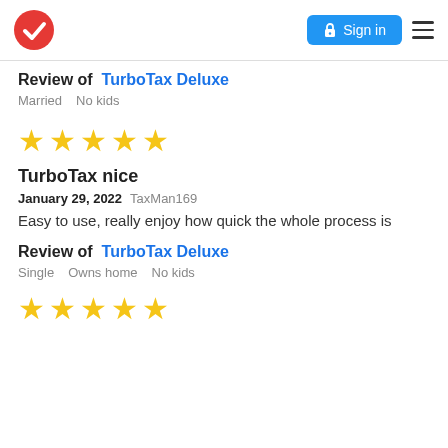TurboTax Sign in
Review of TurboTax Deluxe
Married   No kids
[Figure (other): Five gold star rating]
TurboTax nice
January 29, 2022 TaxMan169
Easy to use, really enjoy how quick the whole process is
Review of TurboTax Deluxe
Single   Owns home   No kids
[Figure (other): Five gold star rating]